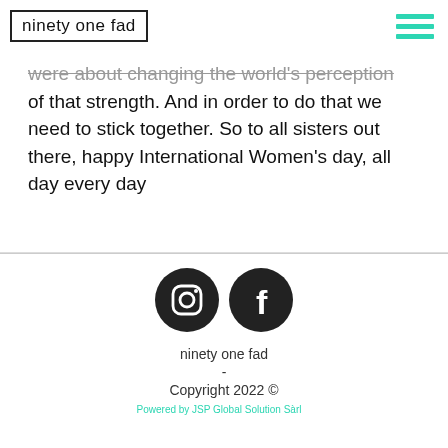ninety one fad
were about changing the world's perception of that strength. And in order to do that we need to stick together. So to all sisters out there, happy International Women's day, all day every day
[Figure (logo): Instagram and Facebook social media icons (dark circular buttons)]
ninety one fad
-
Copyright 2022 ©
Powered by JSP Global Solution Sàrl